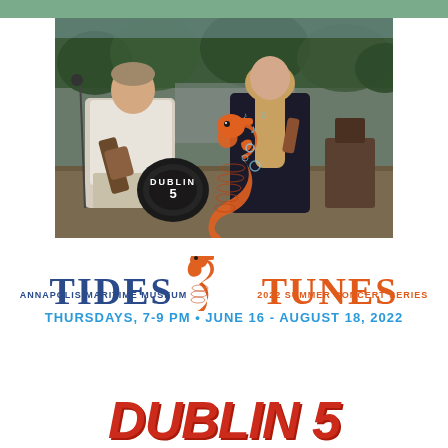[Figure (photo): Band performing outdoors at Annapolis Maritime Museum. A man in white shirt playing guitar leans toward a woman in dark dress playing violin/fiddle. A drum kit with 'Dublin 5' sign is visible on the left. Trees and waterfront in background. An orange seahorse graphic with musical notes overlays the center of the image.]
TIDES & TUNES
ANNAPOLIS MARITIME MUSEUM   2022 SUMMER CONCERT SERIES
THURSDAYS, 7-9 PM • JUNE 16 - AUGUST 18, 2022
[Figure (illustration): Partial red decorative text at bottom of page, appears to be band or event name in large italic red lettering]